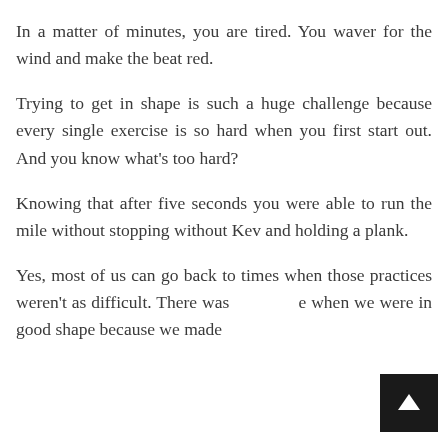In a matter of minutes, you are tired. You waver for the wind and make the beat red.
Trying to get in shape is such a huge challenge because every single exercise is so hard when you first start out. And you know what's too hard?
Knowing that after five seconds you were able to run the mile without stopping without Kev and holding a plank.
Yes, most of us can go back to times when those practices weren't as difficult. There was a time when we were in good shape because we made